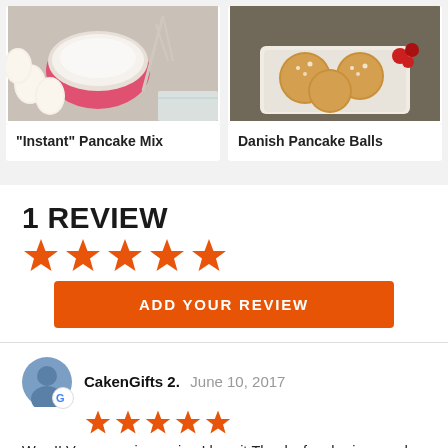[Figure (photo): Baking ingredients with flour in a pink bowl and eggs — Instant Pancake Mix]
"Instant" Pancake Mix
[Figure (photo): Danish pancake balls (aebleskiver) dusted with powdered sugar in a paper tray]
Danish Pancake Balls
1 REVIEW
[Figure (other): 5 orange stars rating]
ADD YOUR REVIEW
CakenGifts 2.  June 10, 2017
[Figure (other): 5 orange stars rating]
Wow!! Very amazing recipe.I love it.Thanks for sharing good cake recipe.